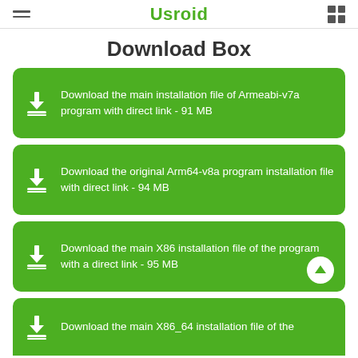Usroid
Download Box
Download the main installation file of Armeabi-v7a program with direct link - 91 MB
Download the original Arm64-v8a program installation file with direct link - 94 MB
Download the main X86 installation file of the program with a direct link - 95 MB
Download the main X86_64 installation file of the